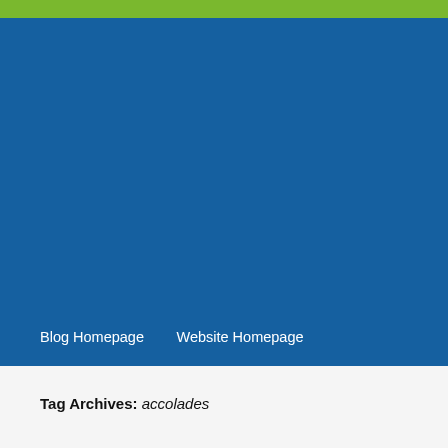Blog Homepage    Website Homepage
Tag Archives: accolades